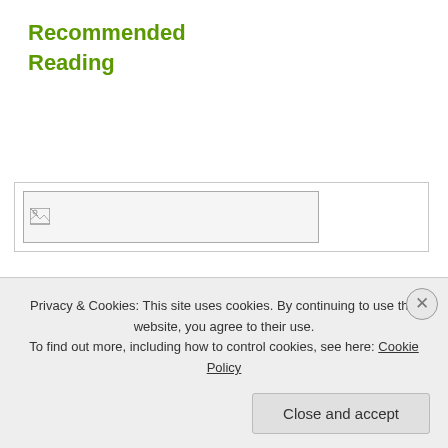Recommended Reading
[Figure (screenshot): A broken image placeholder inside a light grey bordered box, representing a book cover thumbnail that failed to load.]
[Figure (photo): A black and white photograph of a person holding a document, with text 'CONV' visible at the bottom and the partial quote 'One man with courage is a' below it, styled as a motivational poster.]
Privacy & Cookies: This site uses cookies. By continuing to use this website, you agree to their use.
To find out more, including how to control cookies, see here: Cookie Policy
Close and accept